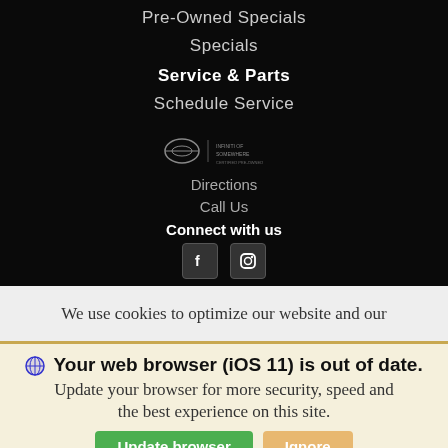Pre-Owned Specials
Specials
Service & Parts
Schedule Service
[Figure (logo): Infiniti dealership logo with text]
Directions
Call Us
Connect with us
[Figure (illustration): Facebook and Instagram social media icons]
We use cookies to optimize our website and our
Your web browser (iOS 11) is out of date.
Update your browser for more security, speed and the best experience on this site.